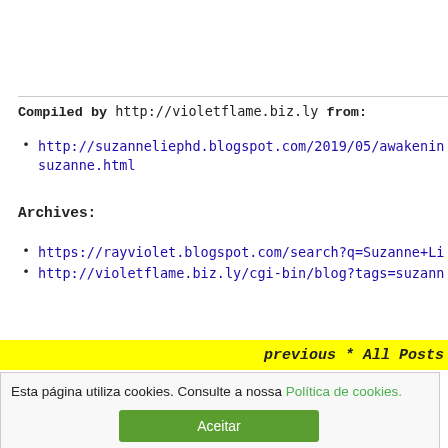Compiled by http://violetflame.biz.ly from:
http://suzanneliephd.blogspot.com/2019/05/awakenin... suzanne.html
Archives:
https://rayviolet.blogspot.com/search?q=Suzanne+Li...
http://violetflame.biz.ly/cgi-bin/blog?tags=suzann...
previous * All Posts
Esta página utiliza cookies. Consulte a nossa Política de cookies.
Aceitar